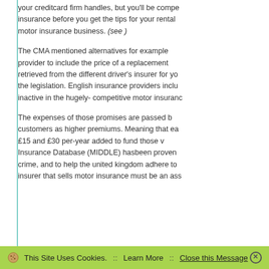your creditcard firm handles, but you'll be competing with motor insurance before you get the tips for your rental motor insurance business. (see )
The CMA mentioned alternatives for example a provider to include the price of a replacement retrieved from the different driver's insurer for yo the legislation. English insurance providers inclu inactive in the hugely- competitive motor insuran
The expenses of those promises are passed b customers as higher premiums. Meaning that ea £15 and £30 per-year added to fund those v Insurance Database (MIDDLE) hasbeen proven crime, and to help the united kingdom adhere to insurer that sells motor insurance must be an ass
This Site Uses Cookies.  ::  Learn More  ::  Close this Message ✕